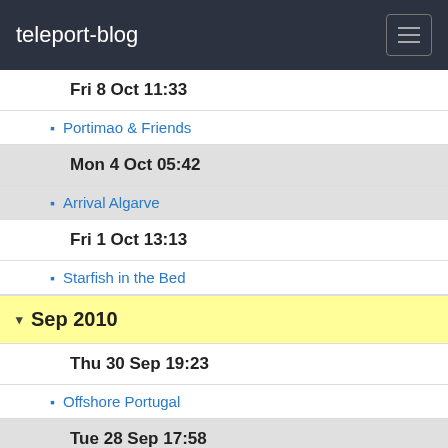teleport-blog
Fri 8 Oct 11:33
Portimao & Friends
Mon 4 Oct 05:42
Arrival Algarve
Fri 1 Oct 13:13
Starfish in the Bed
Sep 2010
Thu 30 Sep 19:23
Offshore Portugal
Tue 28 Sep 17:58
Arrival Baiona
Mon 27 Sep 17:57
No Wind No Diesel No Time
Fri 24 Sep 19:19
Dartmouth First Call